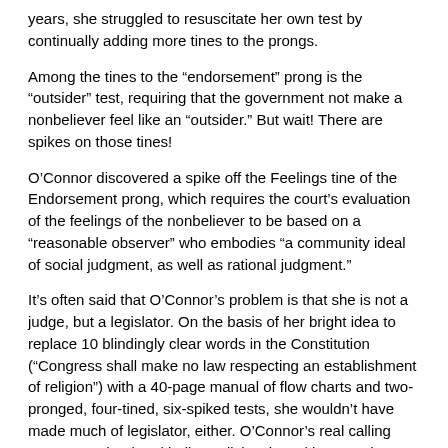years, she struggled to resuscitate her own test by continually adding more tines to the prongs.
Among the tines to the “endorsement” prong is the “outsider” test, requiring that the government not make a nonbeliever feel like an “outsider.” But wait! There are spikes on those tines!
O’Connor discovered a spike off the Feelings tine of the Endorsement prong, which requires the court’s evaluation of the feelings of the nonbeliever to be based on a “reasonable observer” who embodies “a community ideal of social judgment, as well as rational judgment.”
It’s often said that O’Connor’s problem is that she is not a judge, but a legislator. On the basis of her bright idea to replace 10 blindingly clear words in the Constitution (“Congress shall make no law respecting an establishment of religion”) with a 40-page manual of flow charts and two-pronged, four-tined, six-spiked tests, she wouldn’t have made much of legislator, either. O’Connor’s real calling was as a schoolyard bully, maliciously making up rules willy-nilly as she went along.
Processing the religion cases through the meat grinder of her own multipart tests, O’Connor found it was unconstitutional for a Reform rabbi to give a nonsectarian prayer at a high school graduation. It was also unconstitutional for a courthouse in Kentucky to display a framed Ten Commandments along with other historical documents.